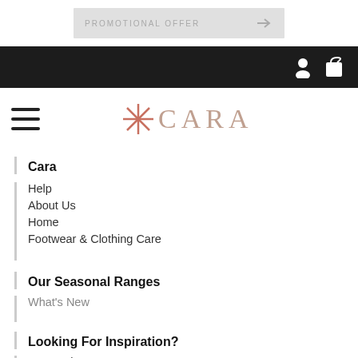[Figure (screenshot): Top banner with promotional text and arrow]
[Figure (screenshot): Black navigation bar with user and shopping bag icons]
[Figure (logo): CARA brand logo with asterisk/star symbol in rose-copper color]
Cara
Help
About Us
Home
Footwear & Clothing Care
Our Seasonal Ranges
What's New
Looking For Inspiration?
CARA Blog
Shop our Instagram